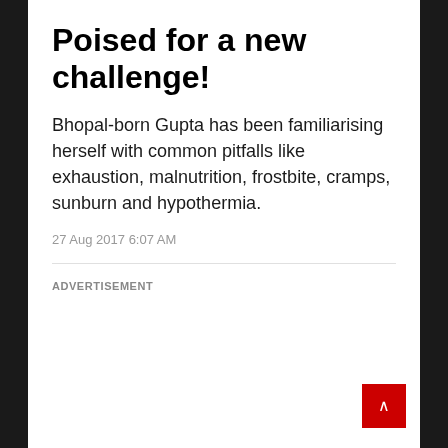Poised for a new challenge!
Bhopal-born Gupta has been familiarising herself with common pitfalls like exhaustion, malnutrition, frostbite, cramps, sunburn and hypothermia.
27 Aug 2017 6:07 AM
ADVERTISEMENT